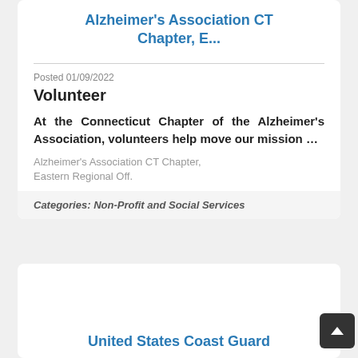Alzheimer's Association CT Chapter, E...
Posted 01/09/2022
Volunteer
At the Connecticut Chapter of the Alzheimer's Association, volunteers help move our mission …
Alzheimer's Association CT Chapter, Eastern Regional Off.
Categories: Non-Profit and Social Services
United States Coast Guard